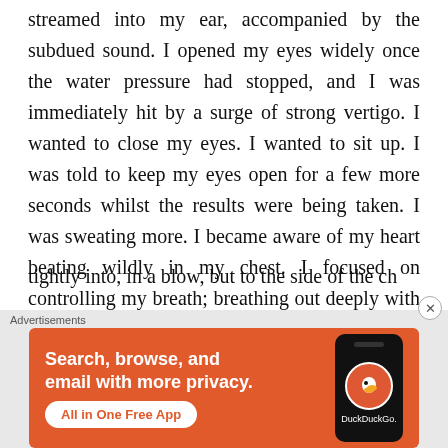streamed into my ear, accompanied by the subdued sound. I opened my eyes widely once the water pressure had stopped, and I was immediately hit by a surge of strong vertigo. I wanted to close my eyes. I wanted to sit up. I was told to keep my eyes open for a few more seconds whilst the results were being taken. I was sweating more. I became aware of my heart beating wildly in my chest. I focused on controlling my breath; breathing out deeply with my lips puckered
[Figure (other): DuckDuckGo advertisement banner with orange background showing 'Search, browse, and email with more privacy. All in One Free App' with phone graphic and DuckDuckGo logo]